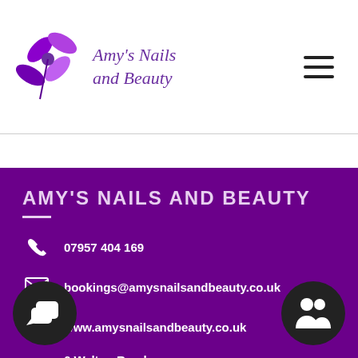[Figure (logo): Amy's Nails and Beauty logo with purple flower/butterfly icon and italic script text]
AMY'S NAILS AND BEAUTY
07957 404 169
bookings@amysnailsandbeauty.co.uk
www.amysnailsandbeauty.co.uk
6 Walton Road Leverington